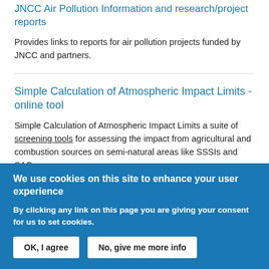JNCC Air Pollution Information and research/project reports
Provides links to reports for air pollution projects funded by JNCC and partners.
Simple Calculation of Atmospheric Impact Limits - online tool
Simple Calculation of Atmospheric Impact Limits a suite of screening tools for assessing the impact from agricultural and combustion sources on semi-natural areas like SSSIs and SACs.
We use cookies on this site to enhance your user experience
By clicking any link on this page you are giving your consent for us to set cookies.